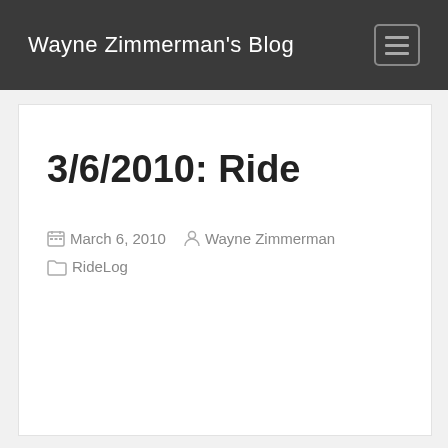Wayne Zimmerman's Blog
3/6/2010: Ride
March 6, 2010  Wayne Zimmerman  Ride Log